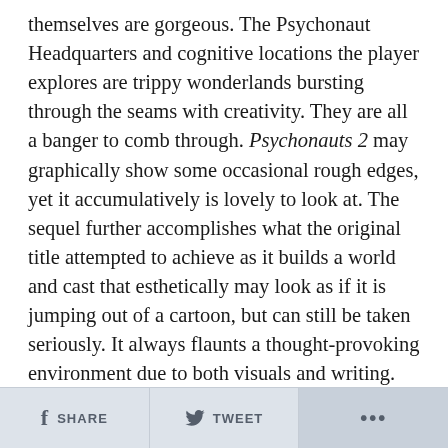themselves are gorgeous. The Psychonaut Headquarters and cognitive locations the player explores are trippy wonderlands bursting through the seams with creativity. They are all a banger to comb through. Psychonauts 2 may graphically show some occasional rough edges, yet it accumulatively is lovely to look at. The sequel further accomplishes what the original title attempted to achieve as it builds a world and cast that esthetically may look as if it is jumping out of a cartoon, but can still be taken seriously. It always flaunts a thought-provoking environment due to both visuals and writing.
SHARE  TWEET  ...